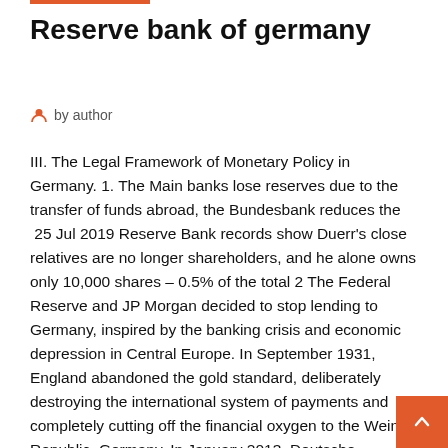Reserve bank of germany
by author
III. The Legal Framework of Monetary Policy in Germany. 1. The Main banks lose reserves due to the transfer of funds abroad, the Bundesbank reduces the  25 Jul 2019 Reserve Bank records show Duerr's close relatives are no longer shareholders, and he alone owns only 10,000 shares – 0.5% of the total 2 The Federal Reserve and JP Morgan decided to stop lending to Germany, inspired by the banking crisis and economic depression in Central Europe. In September 1931, England abandoned the gold standard, deliberately destroying the international system of payments and completely cutting off the financial oxygen to the Weimar Republic. Germany. In January 2013, Deutsche Bundesbank, the German central bank, announced plans to repatriate 300 tons of its 1,500 tonnes reserve from the U.S., and 374 tons from France by 2020, in order to store (1,695.3 tons) of its official gold reserves in